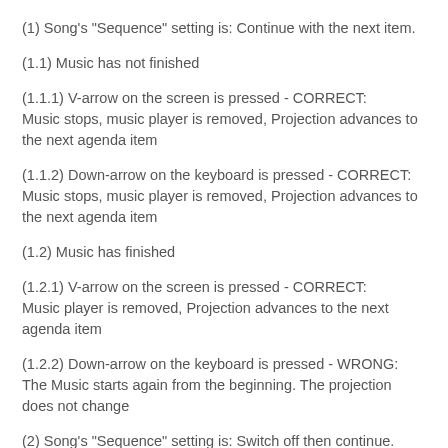(1) Song's "Sequence" setting is: Continue with the next item.
(1.1) Music has not finished
(1.1.1) V-arrow on the screen is pressed - CORRECT: Music stops, music player is removed, Projection advances to the next agenda item
(1.1.2) Down-arrow on the keyboard is pressed - CORRECT: Music stops, music player is removed, Projection advances to the next agenda item
(1.2) Music has finished
(1.2.1) V-arrow on the screen is pressed - CORRECT: Music player is removed, Projection advances to the next agenda item
(1.2.2) Down-arrow on the keyboard is pressed - WRONG: The Music starts again from the beginning. The projection does not change
(2) Song's "Sequence" setting is: Switch off then continue.